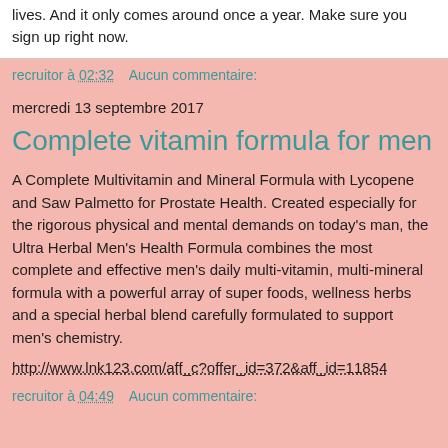lives. And it only comes around once a year. Make sure you sign up right now.
recruitor à 02:32    Aucun commentaire:
mercredi 13 septembre 2017
Complete vitamin formula for men
A Complete Multivitamin and Mineral Formula with Lycopene and Saw Palmetto for Prostate Health. Created especially for the rigorous physical and mental demands on today's man, the Ultra Herbal Men's Health Formula combines the most complete and effective men's daily multi-vitamin, multi-mineral formula with a powerful array of super foods, wellness herbs and a special herbal blend carefully formulated to support men's chemistry.
http://www.lnk123.com/aff_c?offer_id=372&aff_id=11854
recruitor à 04:49    Aucun commentaire: